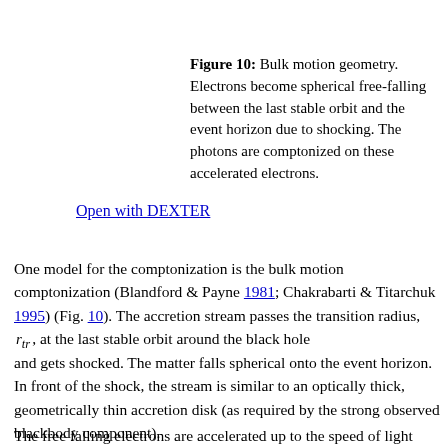Figure 10: Bulk motion geometry. Electrons become spherical free-falling between the last stable orbit and the event horizon due to shocking. The photons are comptonized on these accelerated electrons.
Open with DEXTER
One model for the comptonization is the bulk motion comptonization (Blandford & Payne 1981; Chakrabarti & Titarchuk 1995) (Fig. 10). The accretion stream passes the transition radius, r_tr, at the last stable orbit around the black hole
and gets shocked. The matter falls spherical onto the event horizon. In front of the shock, the stream is similar to an optically thick, geometrically thin accretion disk (as required by the strong observed blackbody component).
The free falling electrons are accelerated up to the speed of light